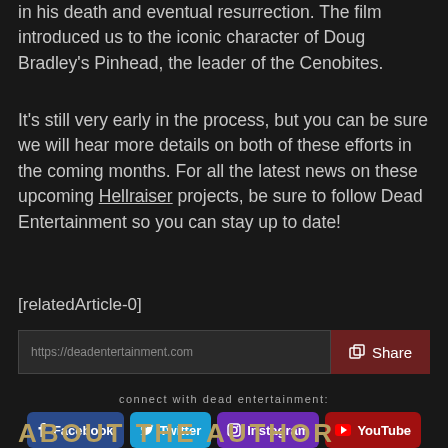introduced us to the iconic character of Doug Bradley's Pinhead, the leader of the Cenobites.
It's still very early in the process, but you can be sure we will hear more details on both of these efforts in the coming months. For all the latest news on these upcoming Hellraiser projects, be sure to follow Dead Entertainment so you can stay up to date!
[relatedArticle-0]
https://deadentertainment.com  Share
connect with dead entertainment:
Facebook  Twitter  Instagram  YouTube  Twitch
ABOUT THE AUTHOR